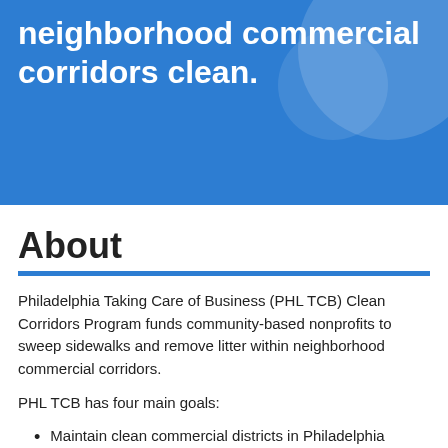neighborhood commercial corridors clean.
About
Philadelphia Taking Care of Business (PHL TCB) Clean Corridors Program funds community-based nonprofits to sweep sidewalks and remove litter within neighborhood commercial corridors.
PHL TCB has four main goals:
Maintain clean commercial districts in Philadelphia neighborhoods.
Promote the economic success of neighborhood businesses by creating an inviting environment for...